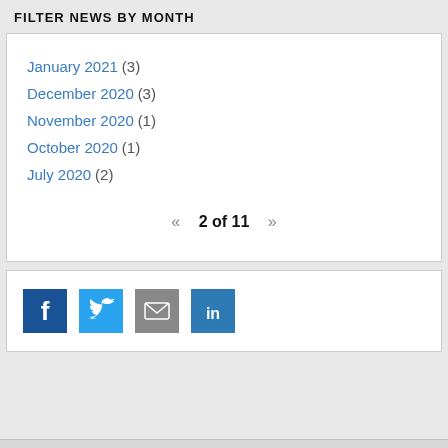FILTER NEWS BY MONTH
January 2021 (3)
December 2020 (3)
November 2020 (1)
October 2020 (1)
July 2020 (2)
« 2 of 11 »
[Figure (infographic): Social media share icons: Facebook (blue), Twitter (light blue), Email (grey), LinkedIn (blue)]